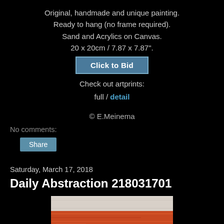Original, handmade and unique painting.
Ready to hang (no frame required).
Sand and Acrylics on Canvas.
20 x 20cm / 7.87 x 7.87".
Click to Bid
Check out artprints:
full / detail
© E.Meinema
No comments:
Share
Saturday, March 17, 2018
Daily Abstraction 218031701
[Figure (photo): Partial view of an abstract painting with horizontal bands of white/grey and orange/red tones on canvas]